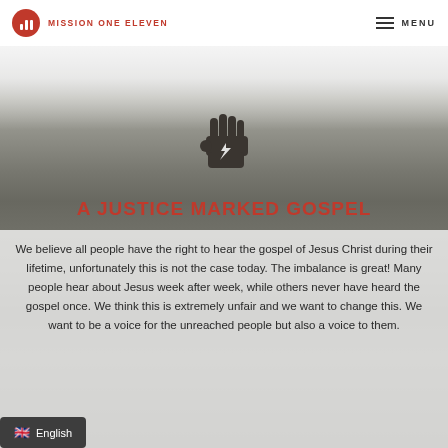MISSION ONE ELEVEN  MENU
[Figure (illustration): Raised fist icon in dark gray/charcoal color, centered on the page over a mountain valley background]
A JUSTICE MARKED GOSPEL
We believe all people have the right to hear the gospel of Jesus Christ during their lifetime, unfortunately this is not the case today. The imbalance is great! Many people hear about Jesus week after week, while others never have heard the gospel once. We think this is extremely unfair and we want to change this. We want to be a voice for the unreached people but also a voice to them.
🇬🇧 English